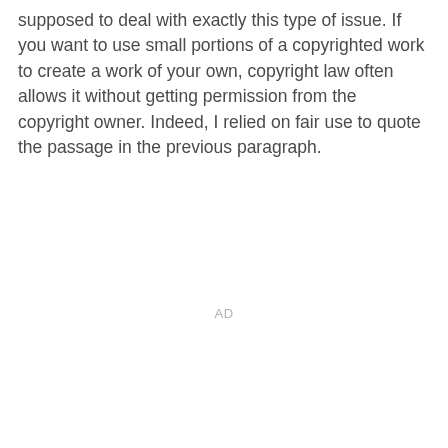supposed to deal with exactly this type of issue. If you want to use small portions of a copyrighted work to create a work of your own, copyright law often allows it without getting permission from the copyright owner. Indeed, I relied on fair use to quote the passage in the previous paragraph.
AD